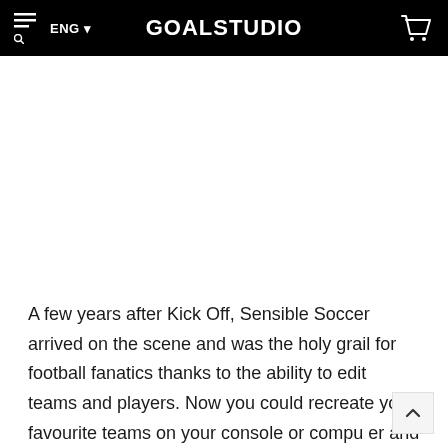GOALSTUDIO
[Figure (illustration): White blank space area below the header, representing an image area that is not loaded or empty]
A few years after Kick Off, Sensible Soccer arrived on the scene and was the holy grail for football fanatics thanks to the ability to edit teams and players. Now you could recreate your favourite teams on your console or computer and guide them to glory. The 1993 version on SNES and